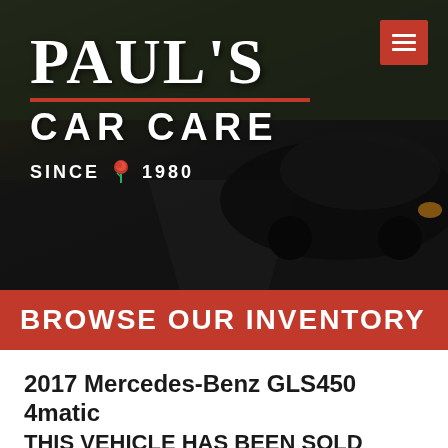[Figure (photo): Paul's Car Care logo and website header over a dark background showing a black sports car on a road. Logo reads PAUL'S CAR CARE SINCE 1980 with a red rose icon and red divider line. Hamburger menu icon in red at top right.]
BROWSE OUR INVENTORY
2017 Mercedes-Benz GLS450 4matic THIS VEHICLE HAS BEEN SOLD
Mileage: 104,602
Engine: 3.0L FI DOHC TwinP...